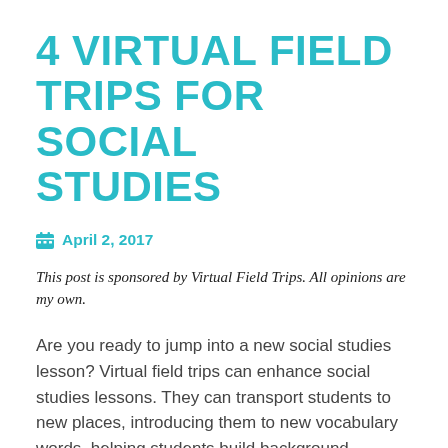4 VIRTUAL FIELD TRIPS FOR SOCIAL STUDIES
April 2, 2017
This post is sponsored by Virtual Field Trips. All opinions are my own.
Are you ready to jump into a new social studies lesson? Virtual field trips can enhance social studies lessons. They can transport students to new places, introducing them to new vocabulary words, helping students build background knowledge, and promoting discussions based on